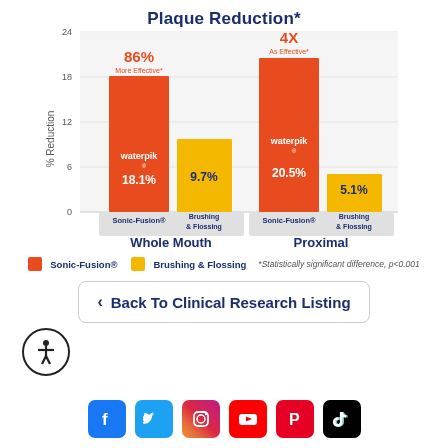Plaque Reduction*
[Figure (grouped-bar-chart): Plaque Reduction*]
Sonic-Fusion®   Brushing & Flossing   *Statistically significant difference, p<0.001
< Back To Clinical Research Listing